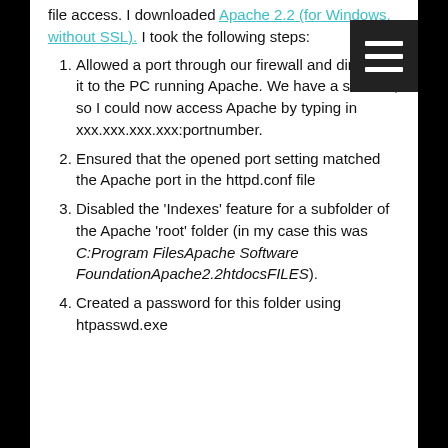file access. I downloaded Apache 2.2 (for Windows, without SSL). I took the following steps:
Allowed a port through our firewall and directed it to the PC running Apache. We have a static IP, so I could now access Apache by typing in xxx.xxx.xxx.xxx:portnumber.
Ensured that the opened port setting matched the Apache port in the httpd.conf file
Disabled the 'Indexes' feature for a subfolder of the Apache 'root' folder (in my case this was C:Program FilesApache Software FoundationApache2.2htdocsFILES).
Created a password for this folder using htpasswd.exe